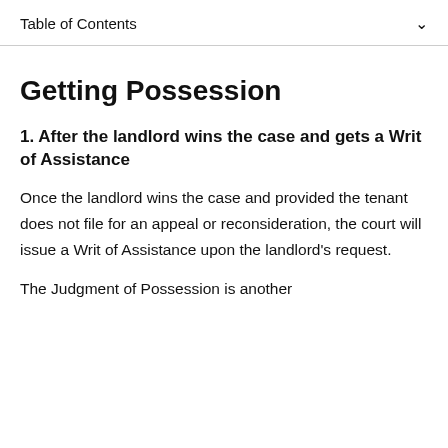Table of Contents
Getting Possession
1. After the landlord wins the case and gets a Writ of Assistance
Once the landlord wins the case and provided the tenant does not file for an appeal or reconsideration, the court will issue a Writ of Assistance upon the landlord's request.
The Judgment of Possession is another